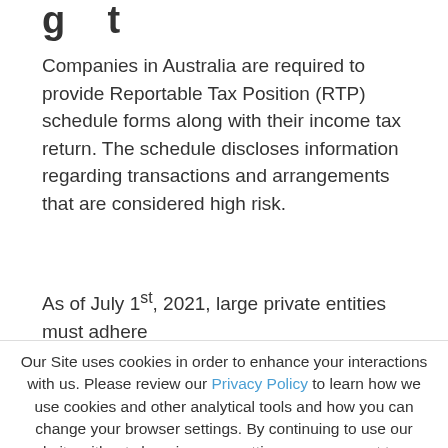g t
Companies in Australia are required to provide Reportable Tax Position (RTP) schedule forms along with their income tax return. The schedule discloses information regarding transactions and arrangements that are considered high risk.
As of July 1st, 2021, large private entities must adhere
Our Site uses cookies in order to enhance your interactions with us. Please review our Privacy Policy to learn how we use cookies and other analytical tools and how you can change your browser settings. By continuing to use our website without changing your settings, you consent to our use of cookies.